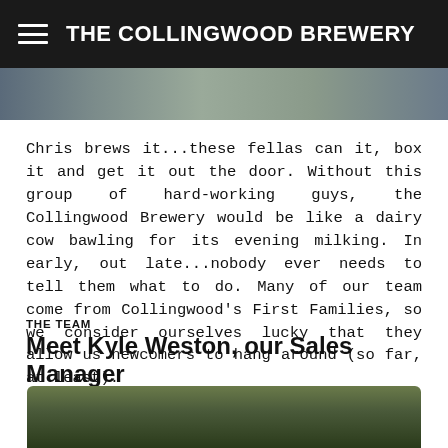THE COLLINGWOOD BREWERY
[Figure (photo): Top portion of a photo showing people, partially cropped]
Chris brews it...these fellas can it, box it and get it out the door. Without this group of hard-working guys, the Collingwood Brewery would be like a dairy cow bawling for its evening milking. In early, out late...nobody ever needs to tell them what to do. Many of our team come from Collingwood’s First Families, so we consider ourselves lucky that they allow us newcomers to hang around (so far, at least).
THE TEAM
Meet Kyle Weston, our Sales Manager
[Figure (photo): Bottom portion of a photo showing outdoor trees/foliage, partially cropped at bottom]